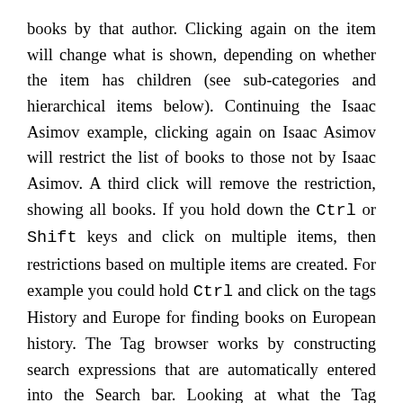books by that author. Clicking again on the item will change what is shown, depending on whether the item has children (see sub-categories and hierarchical items below). Continuing the Isaac Asimov example, clicking again on Isaac Asimov will restrict the list of books to those not by Isaac Asimov. A third click will remove the restriction, showing all books. If you hold down the Ctrl or Shift keys and click on multiple items, then restrictions based on multiple items are created. For example you could hold Ctrl and click on the tags History and Europe for finding books on European history. The Tag browser works by constructing search expressions that are automatically entered into the Search bar. Looking at what the Tag browser generates is a good way to learn how to construct basic search expressions.
Items in the Tag browser have their icons partially colored. The amount of color depends on the average